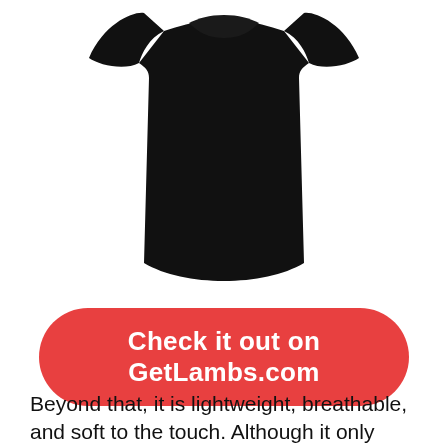[Figure (photo): A black women's fitted short-sleeve t-shirt shown on a model, cropped at the neck and lower torso, displayed on white background.]
Check it out on GetLambs.com
Beyond that, it is lightweight, breathable, and soft to the touch. Although it only